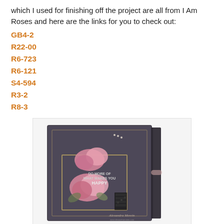which I used for finishing off the project are all from I Am Roses and here are the links for you to check out:
GB4-2
R22-00
R6-723
R6-121
S4-594
R3-2
R8-3
[Figure (photo): A decorative craft folio/album with dark background, pink roses, pearls, and text reading 'DO MORE OF WHAT MAKES YOU HAPPY'. Watermark reads 'Alexandra Morein'.]
For creating the folio, I followed a great free tutorial by Marika Nelson. The tutorial consists of 4 parts...